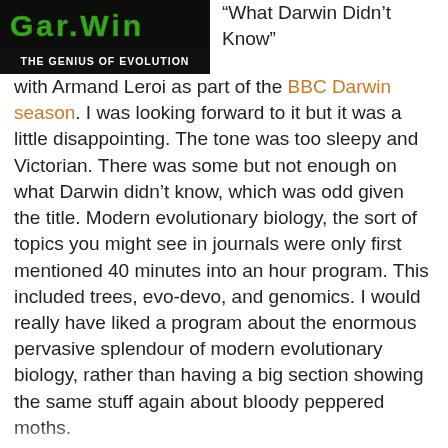[Figure (photo): TV show logo/banner for 'The Genius of Evolution' with dark background and green stylized text at top]
“What Darwin Didn’t Know” with Armand Leroi as part of the BBC Darwin season. I was looking forward to it but it was a little disappointing. The tone was too sleepy and Victorian. There was some but not enough on what Darwin didn’t know, which was odd given the title. Modern evolutionary biology, the sort of topics you might see in journals were only first mentioned 40 minutes into an hour program. This included trees, evo-devo, and genomics. I would really have liked a program about the enormous pervasive splendour of modern evolutionary biology, rather than having a big section showing the same stuff again about bloody peppered moths.